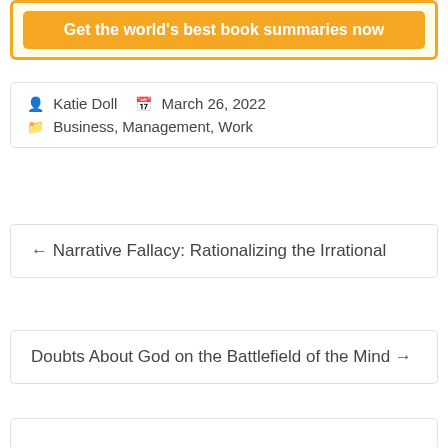Get the world's best book summaries now
Katie Doll   March 26, 2022
Business, Management, Work
← Narrative Fallacy: Rationalizing the Irrational
Doubts About God on the Battlefield of the Mind →